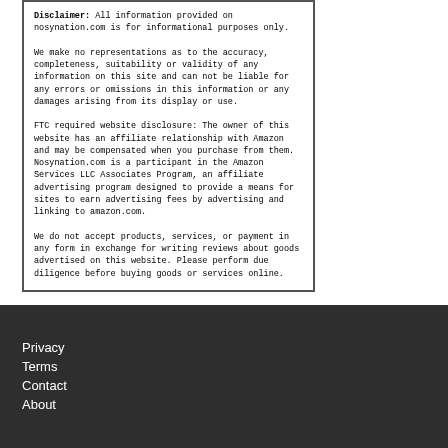Disclaimer: All information provided on nosynation.com is for informational purposes only.

We make no representations as to the accuracy, completeness, suitability or validity of any information on this site and can not be liable for any errors or omissions in this information or any damages arising from its display or use.

FTC required website disclosure: The owner of this website has an affiliate relationship with Amazon and may be compensated when you purchase from them. Nosynation.com is a participant in the Amazon Services LLC Associates Program, an affiliate advertising program designed to provide a means for sites to earn advertising fees by advertising and linking to amazon.com.

We do not accept products, services, or payment in any form in exchange for writing reviews about goods advertised on this website. Please perform due diligence before buying goods or services online.
Privacy
Terms
Contact
About